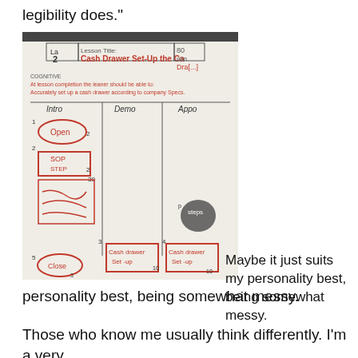legibility does."
[Figure (photo): A hand-drawn lesson plan on white paper/whiteboard. Shows 'Lesson Title: Cash Drawer Set-Up the Ca[sh] Dra[wer]' with sections for Intro, Demo, and Appo. Contains hand-drawn boxes labeled with steps: 1 Open, 2 SOP, 3 Cash drawer Set-up, 4 Cash drawer Set-up, 5 Close, with timing numbers and red marker drawings.]
Maybe it just suits my personality best, being somewhat messy.
Those who know me usually think differently. I'm a very